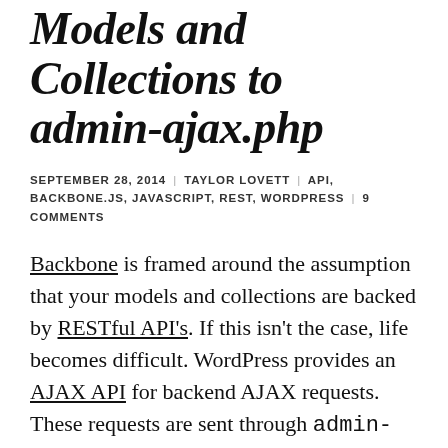Models and Collections to admin-ajax.php
SEPTEMBER 28, 2014 | TAYLOR LOVETT | API, BACKBONE.JS, JAVASCRIPT, REST, WORDPRESS | 9 COMMENTS
Backbone is framed around the assumption that your models and collections are backed by RESTful API's. If this isn't the case, life becomes difficult. WordPress provides an AJAX API for backend AJAX requests. These requests are sent through admin-ajax.php which is not RESTful.